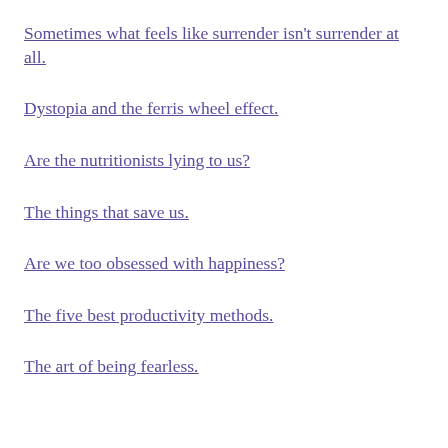Sometimes what feels like surrender isn't surrender at all.
Dystopia and the ferris wheel effect.
Are the nutritionists lying to us?
The things that save us.
Are we too obsessed with happiness?
The five best productivity methods.
The art of being fearless.